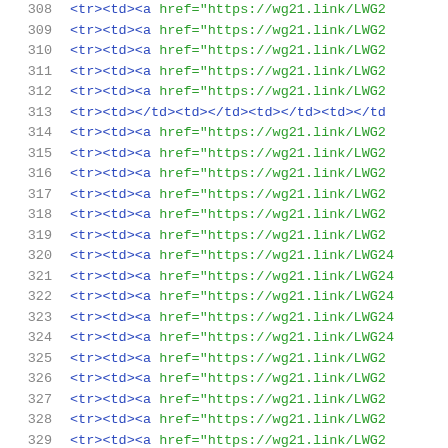308  <tr><td><a href="https://wg21.link/LWG2...
309  <tr><td><a href="https://wg21.link/LWG2...
310  <tr><td><a href="https://wg21.link/LWG2...
311  <tr><td><a href="https://wg21.link/LWG2...
312  <tr><td><a href="https://wg21.link/LWG2...
313  <tr><td></td><td></td><td></td><td></td>...
314  <tr><td><a href="https://wg21.link/LWG2...
315  <tr><td><a href="https://wg21.link/LWG2...
316  <tr><td><a href="https://wg21.link/LWG2...
317  <tr><td><a href="https://wg21.link/LWG2...
318  <tr><td><a href="https://wg21.link/LWG2...
319  <tr><td><a href="https://wg21.link/LWG2...
320  <tr><td><a href="https://wg21.link/LWG24...
321  <tr><td><a href="https://wg21.link/LWG24...
322  <tr><td><a href="https://wg21.link/LWG24...
323  <tr><td><a href="https://wg21.link/LWG24...
324  <tr><td><a href="https://wg21.link/LWG24...
325  <tr><td><a href="https://wg21.link/LWG24...
326  <tr><td><a href="https://wg21.link/LWG24...
327  <tr><td><a href="https://wg21.link/LWG2...
328  <tr><td><a href="https://wg21.link/LWG2...
329  <tr><td><a href="https://wg21.link/LWG2...